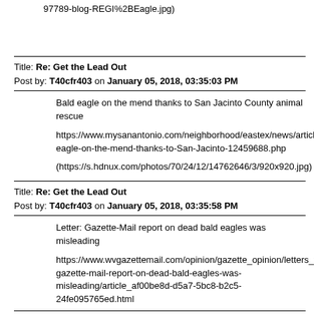97789-blog-REGI%2BEagle.jpg)
Title: Re: Get the Lead Out
Post by: T40cfr403 on January 05, 2018, 03:35:03 PM
Bald eagle on the mend thanks to San Jacinto County animal rescue

https://www.mysanantonio.com/neighborhood/eastex/news/article/Bald-eagle-on-the-mend-thanks-to-San-Jacinto-12459688.php

(https://s.hdnux.com/photos/70/24/12/14762646/3/920x920.jpg)
Title: Re: Get the Lead Out
Post by: T40cfr403 on January 05, 2018, 03:35:58 PM
Letter: Gazette-Mail report on dead bald eagles was misleading

https://www.wvgazettemail.com/opinion/gazette_opinion/letters_to_edito gazette-mail-report-on-dead-bald-eagles-was-misleading/article_af00be8d-d5a7-5bc8-b2c5-24fe095765ed.html